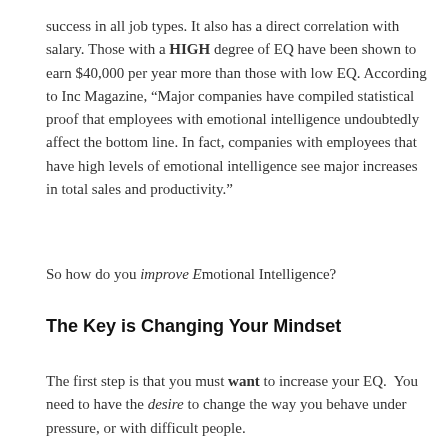success in all job types. It also has a direct correlation with salary. Those with a HIGH degree of EQ have been shown to earn $40,000 per year more than those with low EQ. According to Inc Magazine, “Major companies have compiled statistical proof that employees with emotional intelligence undoubtedly affect the bottom line. In fact, companies with employees that have high levels of emotional intelligence see major increases in total sales and productivity.”
So how do you improve Emotional Intelligence?
The Key is Changing Your Mindset
The first step is that you must want to increase your EQ.  You need to have the desire to change the way you behave under pressure, or with difficult people.